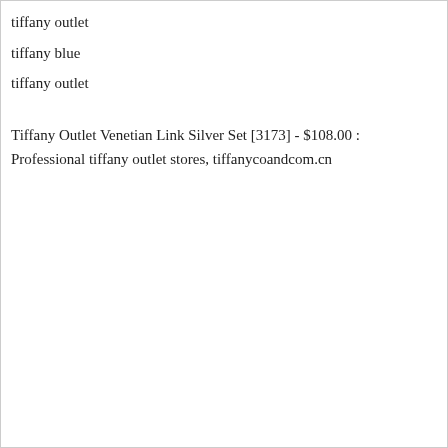tiffany outlet
tiffany blue
tiffany outlet
Tiffany Outlet Venetian Link Silver Set [3173] - $108.00 : Professional tiffany outlet stores, tiffanycoandcom.cn